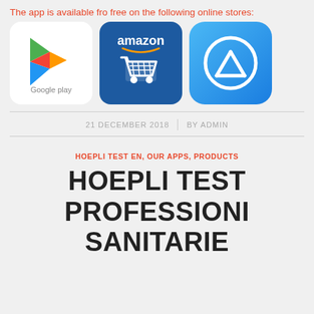The app is available fro free on the following online stores:
[Figure (logo): Google Play logo with colorful triangle and 'Google play' text below]
[Figure (logo): Amazon app store logo with shopping cart on blue background]
[Figure (logo): Apple App Store logo with pencil icon on blue gradient background]
21 DECEMBER 2018 | BY ADMIN
HOEPLI TEST EN, OUR APPS, PRODUCTS
HOEPLI TEST PROFESSIONI SANITARIE